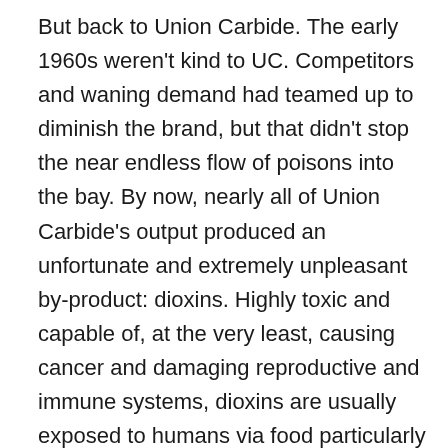But back to Union Carbide. The early 1960s weren't kind to UC. Competitors and waning demand had teamed up to diminish the brand, but that didn't stop the near endless flow of poisons into the bay. By now, nearly all of Union Carbide's output produced an unfortunate and extremely unpleasant by-product: dioxins. Highly toxic and capable of, at the very least, causing cancer and damaging reproductive and immune systems, dioxins are usually exposed to humans via food particularly meat and fish. What a great idea then to produce extremely unsafe levels of dioxins right beside a manufacturer of animal feed. What a great idea to produce that animal feed on top of land infused with dioxins. What a great idea to expel those unwanted dioxins into Homebush Bay, a waterway directly linked to Sydney Harbour and full of fish.
Let's take a moment to hear from the World Health